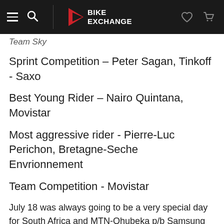BIKE EXCHANGE
Team Sky
Sprint Competition – Peter Sagan, Tinkoff - Saxo
Best Young Rider – Nairo Quintana, Movistar
Most aggressive rider - Pierre-Luc Perichon, Bretagne-Seche Envrionnement
Team Competition - Movistar
July 18 was always going to be a very special day for South Africa and MTN-Qhubeka p/b Samsung team. It